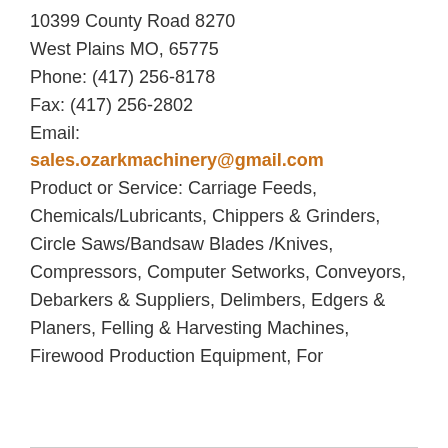10399 County Road 8270
West Plains MO, 65775
Phone: (417) 256-8178
Fax: (417) 256-2802
Email:
sales.ozarkmachinery@gmail.com
Product or Service: Carriage Feeds, Chemicals/Lubricants, Chippers & Grinders, Circle Saws/Bandsaw Blades /Knives, Compressors, Computer Setworks, Conveyors, Debarkers & Suppliers, Delimbers, Edgers & Planers, Felling & Harvesting Machines, Firewood Production Equipment, For